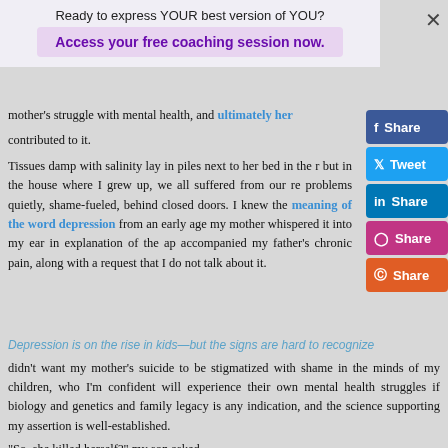Ready to express YOUR best version of YOU?
Access your free coaching session now.
mother's struggle with mental health, and ultimately her contributed to it.
Tissues damp with salinity lay in piles next to her bed in the r but in the house where I grew up, we all suffered from our re problems quietly, shame-fueled, behind closed doors. I knew the meaning of the word depression from an early age my mother whispered it into my ear in explanation of the ap accompanied my father's chronic pain, along with a request that I do not talk about it.
Depression is on the rise in kids—but the signs are hard to recognize didn't want my mother's suicide to be stigmatized with shame in the minds of my children, who I'm confident will experience their own mental health struggles if biology and genetics and family legacy is any indication, and the science supporting my assertion is well-established.
“So, she killed herself?” my son asked.
“Yes.”